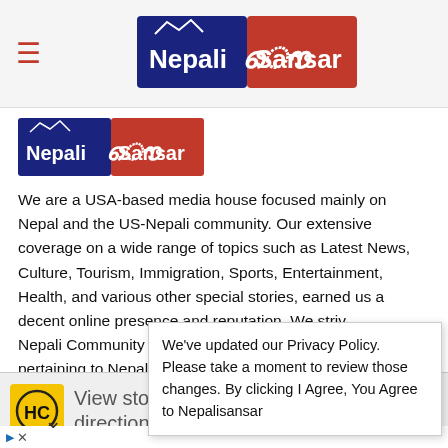Nepali Sansar — navigation header with hamburger menu and logo
[Figure (logo): Nepali Sansar logo — blue left half with 'Nepali' text and mountain graphic, red right half with 'Sansar' text and swirl design, white text throughout]
[Figure (logo): Nepali Sansar small logo — same design as header logo but smaller]
We are a USA-based media house focused mainly on Nepal and the US-Nepali community. Our extensive coverage on a wide range of topics such as Latest News, Culture, Tourism, Immigration, Sports, Entertainment, Health, and various other special stories, earned us a decent online presence and reputation. We striv Nepali Community pertaining to Nepal
We've updated our Privacy Policy. Please take a moment to review those changes. By clicking I Agree, You Agree to Nepalisansar
[Figure (advertisement): Ad banner: HC logo on yellow background, text 'View store hours, get directions, or call your salon!', blue navigation diamond icon on right]